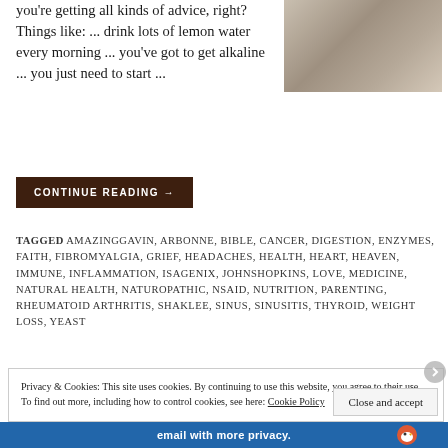you're getting all kinds of advice, right?  Things like: ... drink lots of lemon water every morning ... you've got to get alkaline ... you just need to start ...
[Figure (photo): Photo of a person reading a magazine or book, sitting down]
CONTINUE READING →
TAGGED AMAZINGGAVIN, ARBONNE, BIBLE, CANCER, DIGESTION, ENZYMES, FAITH, FIBROMYALGIA, GRIEF, HEADACHES, HEALTH, HEART, HEAVEN, IMMUNE, INFLAMMATION, ISAGENIX, JOHNSHOPKINS, LOVE, MEDICINE, NATURAL HEALTH, NATUROPATHIC, NSAID, NUTRITION, PARENTING, RHEUMATOID ARTHRITIS, SHAKLEE, SINUS, SINUSITIS, THYROID, WEIGHT LOSS, YEAST
Privacy & Cookies: This site uses cookies. By continuing to use this website, you agree to their use.
To find out more, including how to control cookies, see here: Cookie Policy
Close and accept
email with more privacy.